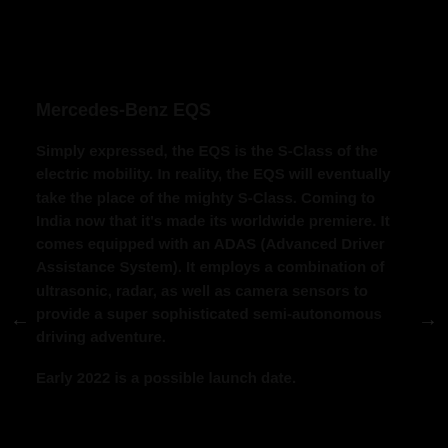Mercedes-Benz EQS
Simply expressed, the EQS is the S-Class of the electric mobility. In reality, the EQS will eventually take the place of the mighty S-Class. Coming to India now that it's made its worldwide premiere. It comes equipped with an ADAS (Advanced Driver Assistance System). It employs a combination of ultrasonic, radar, as well as camera sensors to provide a super sophisticated semi-autonomous driving adventure.
Early 2022 is a possible launch date.